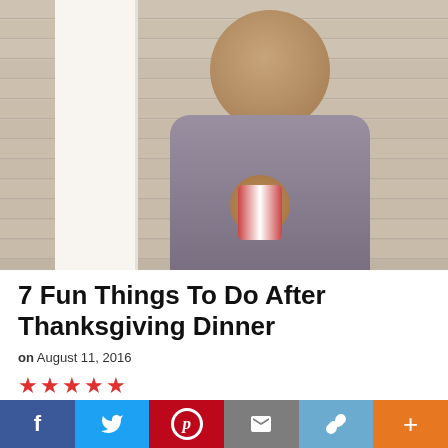[Figure (photo): A smiling young boy holding a small jar or container, standing in front of a house with horizontal siding and a white door frame visible on the left.]
7 Fun Things To Do After Thanksgiving Dinner
on August 11, 2016
[Figure (other): Five red star rating icons]
Since quality time with friends and family can be hard to come by these days, consider using that after-dinner time to create a new
f  Twitter  Pinterest  Mail  Link  +